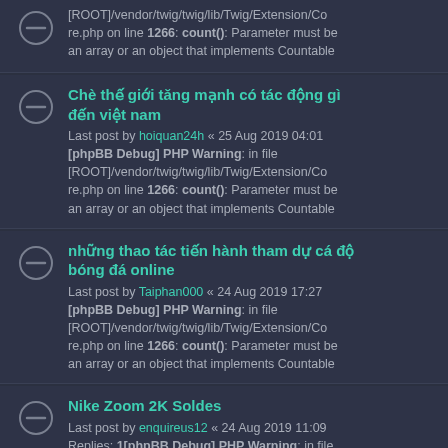[ROOT]/vendor/twig/twig/lib/Twig/Extension/Core.php on line 1266: count(): Parameter must be an array or an object that implements Countable
Chè thế giới tăng mạnh có tác động gì đến việt nam
Last post by hoiquan24h « 25 Aug 2019 04:01
[phpBB Debug] PHP Warning: in file [ROOT]/vendor/twig/twig/lib/Twig/Extension/Core.php on line 1266: count(): Parameter must be an array or an object that implements Countable
những thao tác tiến hành tham dự cá độ bóng đá online
Last post by Taiphan000 « 24 Aug 2019 17:27
[phpBB Debug] PHP Warning: in file [ROOT]/vendor/twig/twig/lib/Twig/Extension/Core.php on line 1266: count(): Parameter must be an array or an object that implements Countable
Nike Zoom 2K Soldes
Last post by enquireus12 « 24 Aug 2019 11:09
Replies: 1[phpBB Debug] PHP Warning: in file [ROOT]/vendor/twig/twig/lib/Twig/Extension/Co...